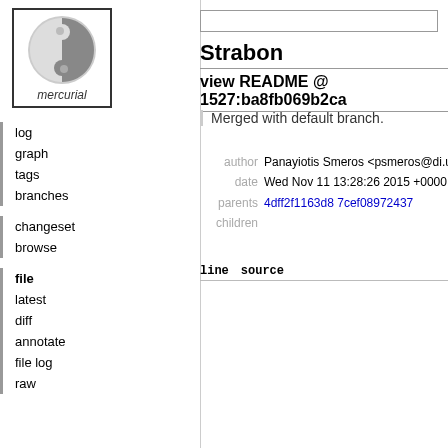[Figure (logo): Mercurial logo: stylized yin-yang spiral with text 'mercurial' at bottom, inside a bordered box]
log
graph
tags
branches
changeset
browse
file
latest
diff
annotate
file log
raw
Strabon
view README @ 1527:ba8fb069b2ca
Merged with default branch.
|  |  |
| --- | --- |
| author | Panayiotis Smeros <psmeros@di.uoa.gr> |
| date | Wed Nov 11 13:28:26 2015 +0000 (2015-1 |
| parents | 4dff2f1163d8 7cef08972437 |
| children |  |
| line | source |
| --- | --- |
| 1 | Strabon |
| 2 | ---------- |
| 3 |  |
| 4 | Introduction |
| 5 | ============ |
| 6 | Strabon is a fully implemented seman… |
| 7 | used to store linked geospatial data… |
| 8 | extension of SPARQL. Strabon supports… |
| 9 | set of spatial functions similar to t… |
| 10 | database systems, support for multip… |
| 11 | used serializations for geometric obj… |
| 12 | on top of the well-known RDF store S… |